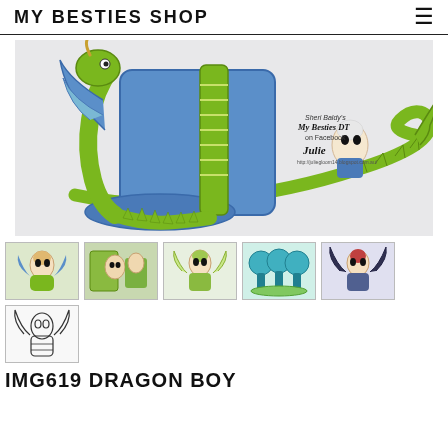MY BESTIES SHOP
[Figure (illustration): Main product image showing a colored illustration of a dragon-themed boot with blue and green dragon wrapping around it, and a small fairy/elf character with white hair sitting inside. Watermark text 'My Besties DT on Facebook Julie' visible.]
[Figure (photo): Thumbnail 1: colored dragon boy character in green and blue]
[Figure (photo): Thumbnail 2: colored scene with fairy characters]
[Figure (photo): Thumbnail 3: line art colored dragon boy character]
[Figure (photo): Thumbnail 4: teal mushroom and character cake pops]
[Figure (photo): Thumbnail 5: colored dragon boy character with dark wings]
[Figure (illustration): Thumbnail 6: black and white line art of dragon boy character]
IMG619 DRAGON BOY